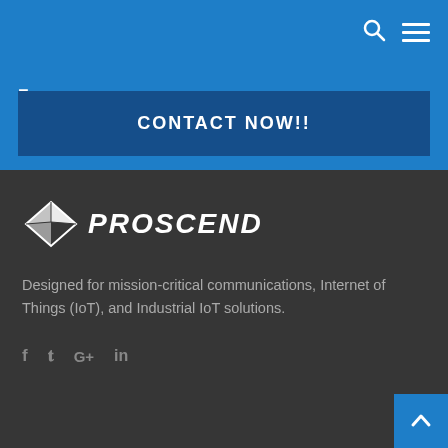[Figure (screenshot): Blue navigation bar with search icon and hamburger menu icon in top right]
·
CONTACT NOW!!
[Figure (logo): Proscend logo with geometric diamond icon and italic white text PROSCEND on dark grey background]
Designed for mission-critical communications, Internet of Things (IoT), and Industrial IoT solutions.
[Figure (infographic): Social media icons: Facebook, Twitter, Google+, LinkedIn]
[Figure (other): Blue scroll-to-top button with upward chevron arrow]